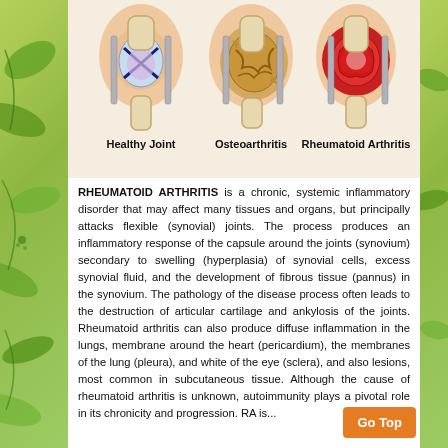[Figure (illustration): Three knee joint cross-sections side by side: Healthy Joint (blue/purple ligaments on beige background), Osteoarthritis (yellowish-brown degraded cartilage), and Rheumatoid Arthritis (red inflamed tissue). Each labeled below.]
Healthy Joint    Osteoarthritis    Rheumatoid Arthritis
RHEUMATOID ARTHRITIS is a chronic, systemic inflammatory disorder that may affect many tissues and organs, but principally attacks flexible (synovial) joints. The process produces an inflammatory response of the capsule around the joints (synovium) secondary to swelling (hyperplasia) of synovial cells, excess synovial fluid, and the development of fibrous tissue (pannus) in the synovium. The pathology of the disease process often leads to the destruction of articular cartilage and ankylosis of the joints. Rheumatoid arthritis can also produce diffuse inflammation in the lungs, membrane around the heart (pericardium), the membranes of the lung (pleura), and white of the eye (sclera), and also lesions, most common in subcutaneous tissue. Although the cause of rheumatoid arthritis is unknown, autoimmunity plays a pivotal role in its chronicity and progression. RA is...